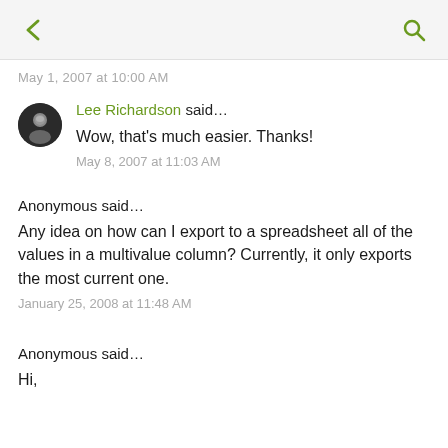← [back] [search]
May 1, 2007 at 10:00 AM
Lee Richardson said… Wow, that's much easier. Thanks!
May 8, 2007 at 11:03 AM
Anonymous said…
Any idea on how can I export to a spreadsheet all of the values in a multivalue column? Currently, it only exports the most current one.
January 25, 2008 at 11:48 AM
Anonymous said…
Hi,